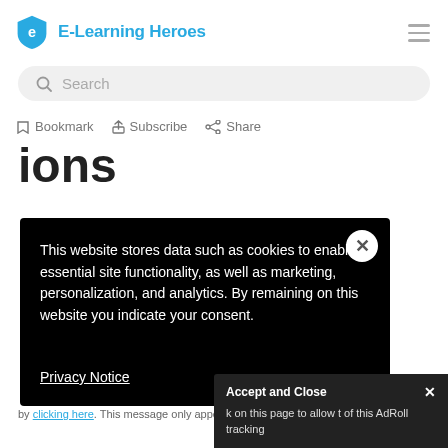E-Learning Heroes
Search
Bookmark  Subscribe  Share
ions
This website stores data such as cookies to enable essential site functionality, as well as marketing, personalization, and analytics. By remaining on this website you indicate your consent.
Privacy Notice
Accept and Close ✕
k on this page to allow t of this AdRoll tracking
by clicking here. This message only appears once.